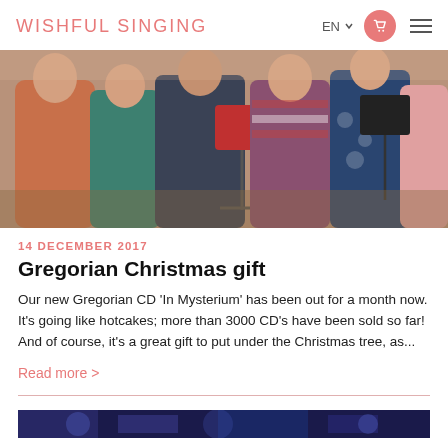WISHFUL SINGING
[Figure (photo): Group of singers rehearsing with music stands, indoor setting]
14 DECEMBER 2017
Gregorian Christmas gift
Our new Gregorian CD 'In Mysterium' has been out for a month now. It's going like hotcakes; more than 3000 CD's have been sold so far! And of course, it's a great gift to put under the Christmas tree, as...
Read more >
[Figure (photo): Partially visible second article image at bottom of page]